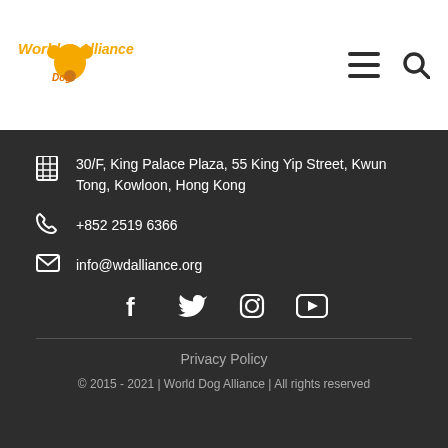[Figure (logo): World Dog Alliance logo with orange dog paw graphic and text]
30/F, King Palace Plaza, 55 King Yip Street, Kwun Tong, Kowloon, Hong Kong
+852 2519 6366
info@wdalliance.org
[Figure (infographic): Social media icons: Facebook, Twitter, Instagram, YouTube]
Privacy Policy
© 2015 - 2021 | World Dog Alliance | All rights reserved